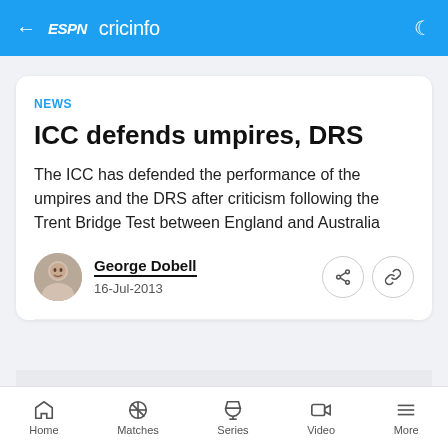ESPN cricinfo
NEWS
ICC defends umpires, DRS
The ICC has defended the performance of the umpires and the DRS after criticism following the Trent Bridge Test between England and Australia
George Dobell
16-Jul-2013
Home  Matches  Series  Video  More